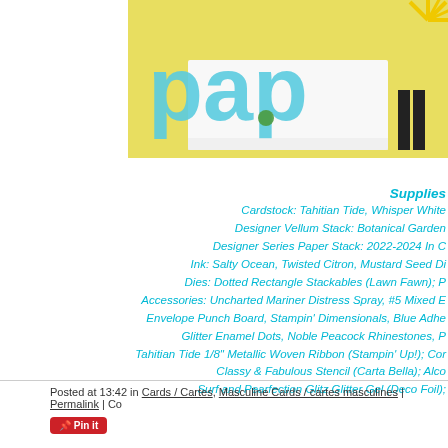[Figure (photo): Craft/scrapbooking photo showing blue 'papa' letter die cuts on a yellow and white patterned background with decorative elements]
Supplies
Cardstock: Tahitian Tide, Whisper White; Designer Vellum Stack: Botanical Garden; Designer Series Paper Stack: 2022-2024 In C; Ink: Salty Ocean, Twisted Citron, Mustard Seed Di; Dies: Dotted Rectangle Stackables (Lawn Fawn); Accessories: Uncharted Mariner Distress Spray, #5 Mixed Envelope Punch Board, Stampin' Dimensionals, Blue Adhe Glitter Enamel Dots, Noble Peacock Rhinestones, P; Tahitian Tide 1/8" Metallic Woven Ribbon (Stampin' Up!); Cor Classy & Fabulous Stencil (Carta Bella); Alco Surf and Pearfection Glitz Glitter Gel (Deco Foil);
Posted at 13:42 in Cards / Cartes, Masculine Cards / cartes masculines | Permalink | Co